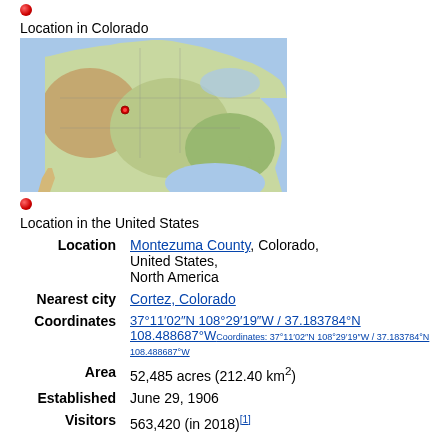[Figure (map): Red dot marker for location in Colorado]
Location in Colorado
[Figure (map): Relief map of the continental United States showing location marker]
[Figure (map): Red dot marker for location in the United States]
Location in the United States
| Location | Montezuma County, Colorado, United States, North America |
| Nearest city | Cortez, Colorado |
| Coordinates | 37°11′02″N 108°29′19″W / 37.183784°N 108.488687°W Coordinates: 37°11′02″N 108°29′19″W / 37.183784°N 108.488687°W |
| Area | 52,485 acres (212.40 km²) |
| Established | June 29, 1906 |
| Visitors | 563,420 (in 2018)[1] |